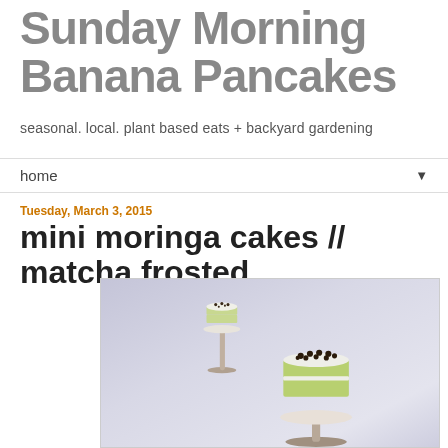Sunday Morning Banana Pancakes
seasonal. local. plant based eats + backyard gardening
home ▼
Tuesday, March 3, 2015
mini moringa cakes // matcha frosted
[Figure (photo): Two mini layered cakes with white/green matcha frosting and dark chocolate chip toppings, displayed on decorative metal cake pedestals against a soft lavender-grey background. One cake is on a tall pedestal in the background, another larger cake is in the foreground on a shorter stand.]